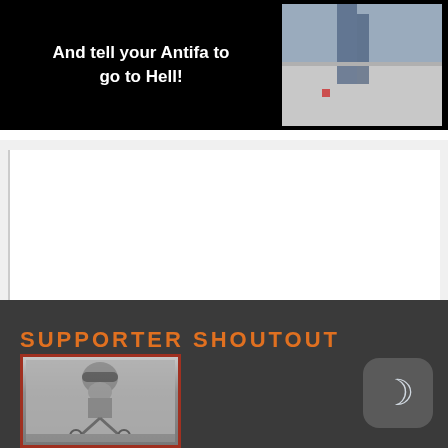[Figure (other): Black banner with white bold text on left and a photo of what appears to be a sidewalk/street scene on the right]
And tell your Antifa to go to Hell!
[Figure (other): White content area with left border, appears to be a comment or post section]
SUPPORTER SHOUTOUT
[Figure (photo): Black and white photo of a cyclist wearing a helmet]